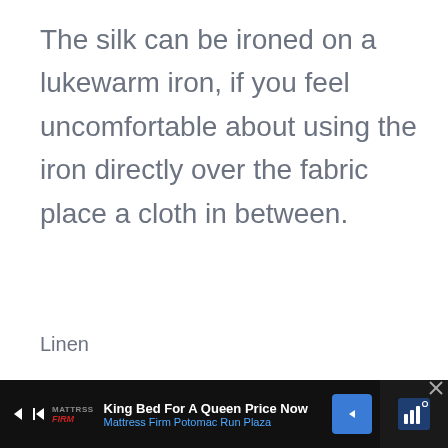The silk can be ironed on a lukewarm iron, if you feel uncomfortable about using the iron directly over the fabric place a cloth in between.
Linen
Linen is another popular fabric to use for clothes, mostly because it is easy to wear and breathable.
King Bed For A Queen Price Now | Mattress Firm Potomac Run Plaza